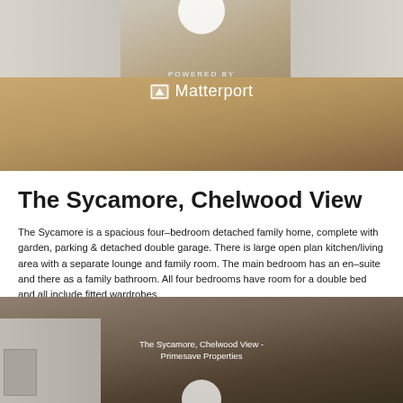[Figure (photo): Interior photo of a kitchen with grey/white cabinets and wooden floor, with a Matterport virtual tour overlay showing 'POWERED BY Matterport' logo]
The Sycamore, Chelwood View
The Sycamore is a spacious four–bedroom detached family home, complete with garden, parking & detached double garage. There is large open plan kitchen/living area with a separate lounge and family room. The main bedroom has an en–suite and there as a family bathroom. All four bedrooms have room for a double bed and all include fitted wardrobes.
[Figure (photo): Interior photo of another room in the property, with overlay text reading 'The Sycamore, Chelwood View - Primesave Properties']